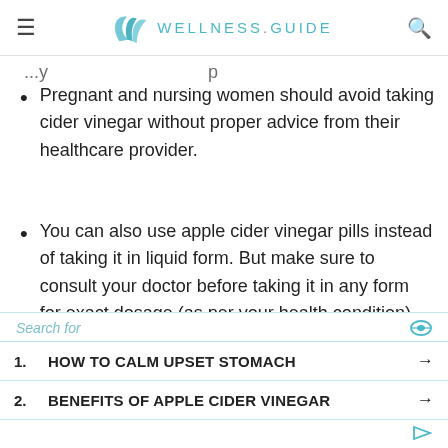WELLNESS.GUIDE
...y...p...
Pregnant and nursing women should avoid taking cider vinegar without proper advice from their healthcare provider.
You can also use apple cider vinegar pills instead of taking it in liquid form. But make sure to consult your doctor before taking it in any form for exact dosage (as per your health condition).
High doses of apple cider vinegar can lead to
| # | Title | Link |
| --- | --- | --- |
| 1. | HOW TO CALM UPSET STOMACH | → |
| 2. | BENEFITS OF APPLE CIDER VINEGAR | → |